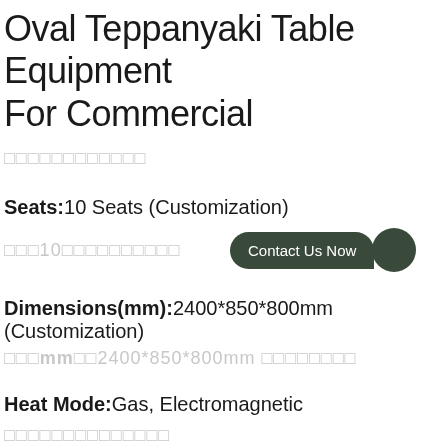Oval Teppanyaki Table Equipment For Commercial
□□□□□□□□□□□□
Seats: 10 Seats (Customization)
□□□10□□□□□□□□□□
[Figure (other): Contact Us Now button with dark green speech bubble pill shape and circle]
Dimensions(mm): 2400*850*800mm (Customization)
□□□mm□□2400*850*800mm □□□□□□□□
Heat Mode: Gas, Electromagnetic
□□□□□□□□□□□□□□